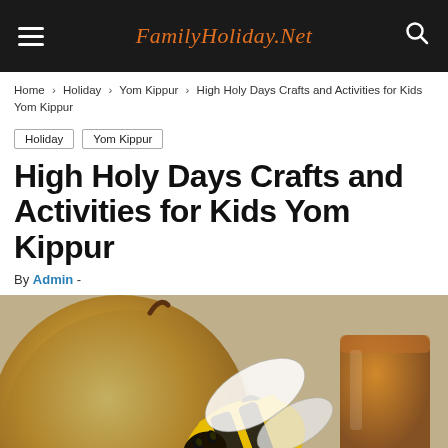FamilyHoliday.Net
Home › Holiday › Yom Kippur › High Holy Days Crafts and Activities for Kids Yom Kippur
Holiday   Yom Kippur
High Holy Days Crafts and Activities for Kids Yom Kippur
By Admin -
[Figure (photo): Photo of a craft bee made from yellow and black paper with white wings, placed near a green/red apple and a glass of honey in the background.]